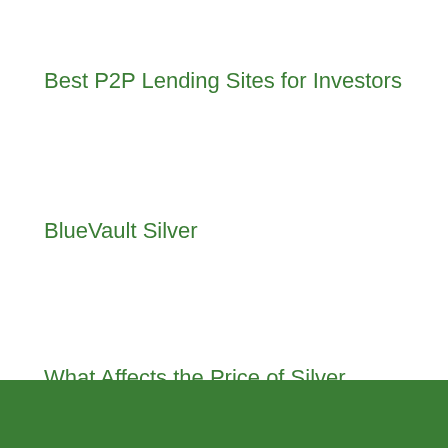Best P2P Lending Sites for Investors
BlueVault Silver
What Affects the Price of Silver